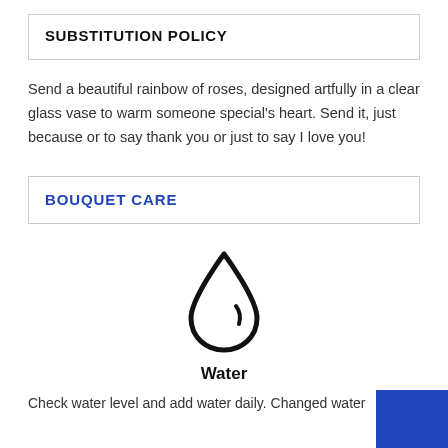SUBSTITUTION POLICY
Send a beautiful rainbow of roses, designed artfully in a clear glass vase to warm someone special's heart. Send it, just because or to say thank you or just to say I love you!
BOUQUET CARE
[Figure (illustration): Water droplet icon in black outline]
Water
Check water level and add water daily. Changed water